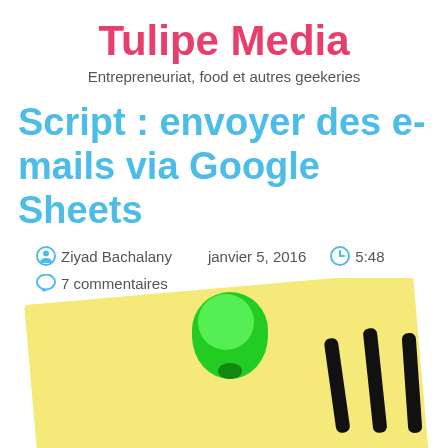Tulipe Media
Entrepreneuriat, food et autres geekeries
Script : envoyer des e-mails via Google Sheets
Ziyad Bachalany   janvier 5, 2016   5:48
7 commentaires
[Figure (photo): A yellow sticky note pinned with a green thumbtack, with black marker writing visible on the right side, cropped at the bottom of the page.]